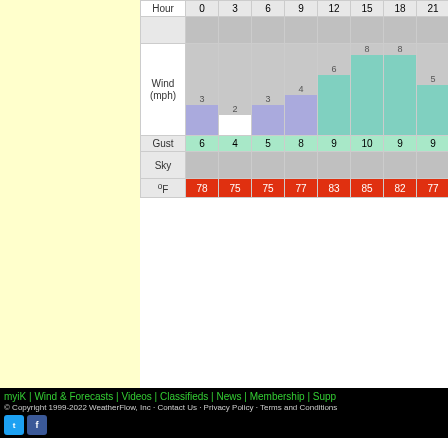[Figure (table-as-image): Weather forecast table showing Hour, Wind (mph) with bar chart, Gust, Sky, and °F rows for hours 0,3,6,9,12,15,18,21,0,3]
add this to your site
myiK | Wind & Forecasts | Videos | Classifieds | News | Membership | Supp... © Copyright 1999-2022 WeatherFlow, Inc · Contact Us · Privacy Policy · Terms and Conditions